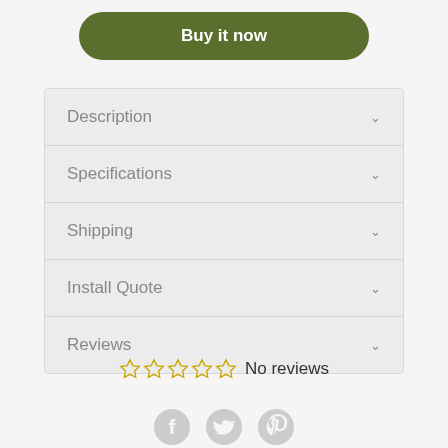Buy it now
Description
Specifications
Shipping
Install Quote
Reviews
No reviews
[Figure (illustration): Facebook, Twitter, and Pinterest social sharing icons in gray]